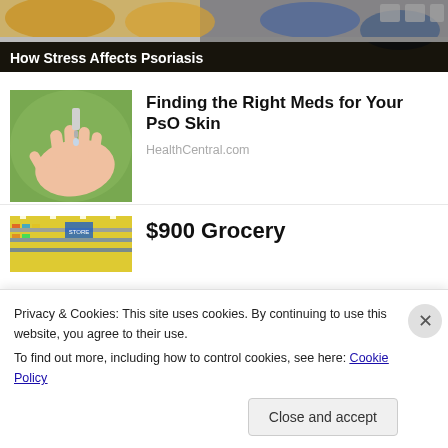[Figure (screenshot): Video player screenshot showing a video about psoriasis with playback controls and progress bar. Title overlay reads 'How Stress Affects Psoriasis'.]
How Stress Affects Psoriasis
[Figure (photo): Thumbnail photo of a hand receiving medication drops]
Finding the Right Meds for Your PsO Skin
HealthCentral.com
[Figure (photo): Thumbnail photo of a grocery store aisle]
$900 Grocery
Privacy & Cookies: This site uses cookies. By continuing to use this website, you agree to their use.
To find out more, including how to control cookies, see here: Cookie Policy